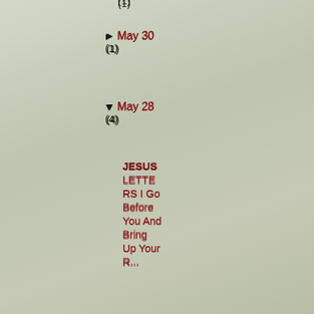(1)
► May 30
(1)
▼ May 28
(4)
JESUS LETTERS I Go Before You And Bring Up Your R...
JESUS LETTERS As The Future Unfolds, I Will Not O...
JESUS LETTERS You Never Have To...